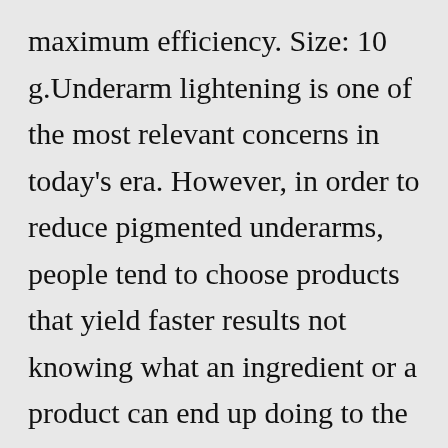maximum efficiency. Size: 10 g.Underarm lightening is one of the most relevant concerns in today's era. However, in order to reduce pigmented underarms, people tend to choose products that yield faster results not knowing what an ingredient or a product can end up doing to the skin. The proper solution to any of these concerns is to treat them naturally.Users' unbiased Qraa Dark Underarm Whitening Cream reviews will